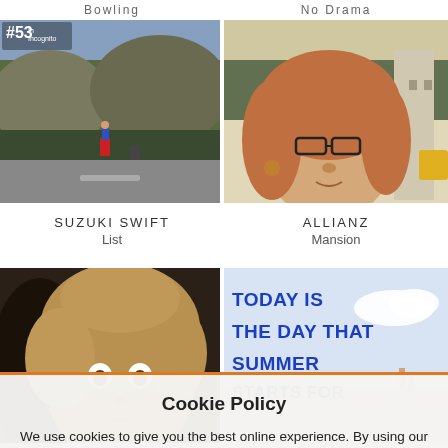Bowling    No Drama
[Figure (photo): Movie/ad still: person in red pants standing on a mountain road next to rocks and greenery, with '#53 In Incognito' overlay text]
[Figure (photo): Movie/ad still: close-up of a middle-aged woman with curly red hair and glasses, outdoors]
SUZUKI SWIFT List
ALLIANZ Mansion
[Figure (photo): Movie/ad still: woman with curly blonde hair, close-up]
[Figure (photo): Ad still with bold blue text: TODAY IS THE DAY THAT SUMMER STARTS FOR... with background of a sunny outdoor scene]
Cookie Policy
We use cookies to give you the best online experience. By using our website you agree to our use of cookies in accordance with our Privacy Policy. Learn more
I agree